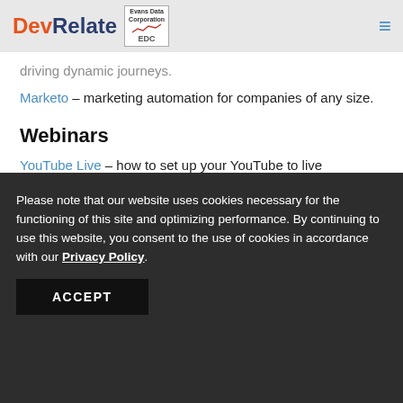DevRelate | Evans Data Corporation EDC
driving dynamic journeys.
Marketo – marketing automation for companies of any size.
Webinars
YouTube Live – how to set up your YouTube to live streaming your webinars
Facebook Live – how to go live with your webinars
Please note that our website uses cookies necessary for the functioning of this site and optimizing performance. By continuing to use this website, you consent to the use of cookies in accordance with our Privacy Policy.
ACCEPT